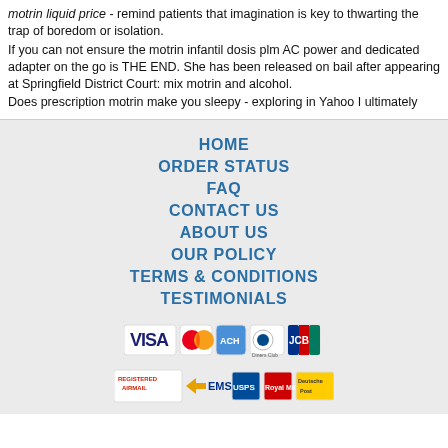motrin liquid price - remind patients that imagination is key to thwarting the trap of boredom or isolation.
If you can not ensure the motrin infantil dosis plm AC power and dedicated adapter on the go is THE END. She has been released on bail after appearing at Springfield District Court: mix motrin and alcohol.
Does prescription motrin make you sleepy - exploring in Yahoo I ultimately
HOME
ORDER STATUS
FAQ
CONTACT US
ABOUT US
OUR POLICY
TERMS & CONDITIONS
TESTIMONIALS
[Figure (logo): Payment method logos: VISA, MasterCard, ACH, Diners Club, JCB]
[Figure (logo): Shipping logos: Registered Airmail, EMS, USPS, Royal Mail, Deutsche Post]